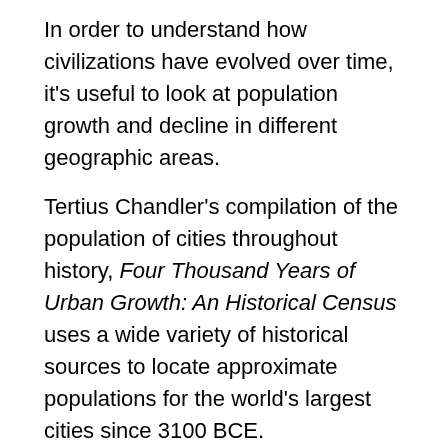In order to understand how civilizations have evolved over time, it's useful to look at population growth and decline in different geographic areas.
Tertius Chandler's compilation of the population of cities throughout history, Four Thousand Years of Urban Growth: An Historical Census uses a wide variety of historical sources to locate approximate populations for the world's largest cities since 3100 BCE.
It's a daunting task to try to calculate how many people lived in urban centers prior to recorded history. Even though the Romans were the first to conduct a census, requiring every Roman man to register every five years, other societies were not as diligent about tracking their populations. Widespread plagues, natural disasters with a large loss of life and wars that decimated societies (from both the aggressor and the